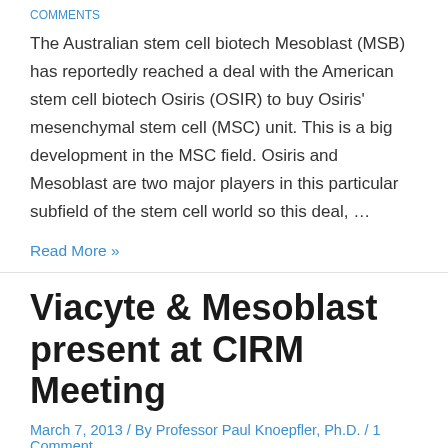COMMENTS
The Australian stem cell biotech Mesoblast (MSB) has reportedly reached a deal with the American stem cell biotech Osiris (OSIR) to buy Osiris' mesenchymal stem cell (MSC) unit. This is a big development in the MSC field. Osiris and Mesoblast are two major players in this particular subfield of the stem cell world so this deal, …
Read More »
Viacyte & Mesoblast present at CIRM Meeting
March 7, 2013 / By Professor Paul Knoepfler, Ph.D. / 1 Comment
Allan Robins of Viacyte (pictured at left–sorry for the fuzzy image) and Paul Simmons of Mesoblast presented this morning at the CIRM Grantee Meeting. Both talks were outstanding.